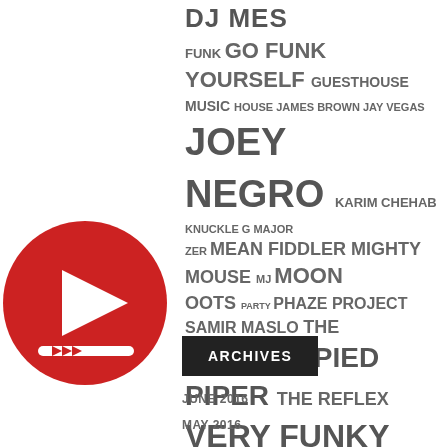DJ MES FUNK GO FUNK YOURSELF GUESTHOUSE MUSIC HOUSE JAMES BROWN JAY VEGAS JOEY NEGRO KARIM CHEHAB KNUCKLE G MAJOR ZER MEAN FIDDLER MIGHTY MOUSE MJ MOON OOTS PARTY PHAZE PROJECT SAMIR MASLO THE CAPTAIN THE PIED PIPER THE REFLEX VERY FUNKY RECORDS VICEROY ZIGGY PHUNK
[Figure (logo): Red YouTube-style play button icon with a rewind/fast-forward symbol below it]
ARCHIVES
JUNE 2016
MAY 2016